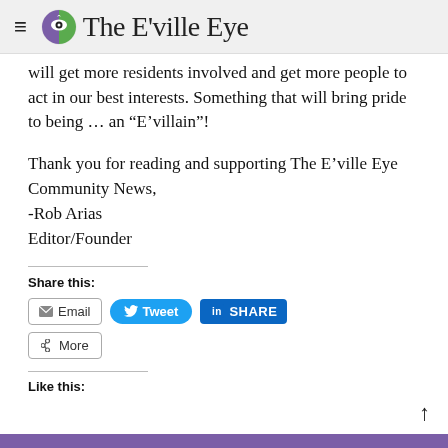The E'ville Eye
will get more residents involved and get more people to act in our best interests. Something that will bring pride to being … an “E’villain”!
Thank you for reading and supporting The E’ville Eye Community News,
-Rob Arias
Editor/Founder
Share this:
[Figure (screenshot): Social sharing buttons: Email, Tweet, LinkedIn SHARE, More]
Like this: